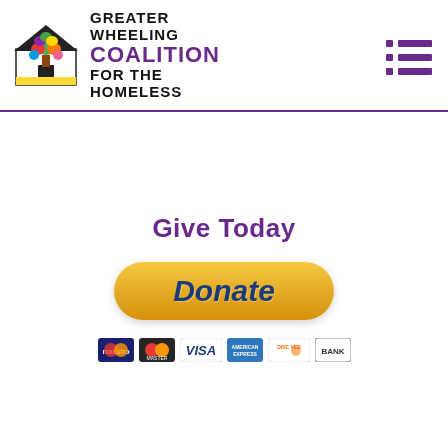[Figure (logo): Greater Wheeling Coalition for the Homeless logo with colorful house/tree icon and organization name]
[Figure (illustration): Hamburger menu icon with purple dots and bars]
Give Today
[Figure (illustration): PayPal-style yellow Donate button]
[Figure (illustration): Payment method icons: Maestro, MasterCard, VISA, American Express, Discover, Bank]